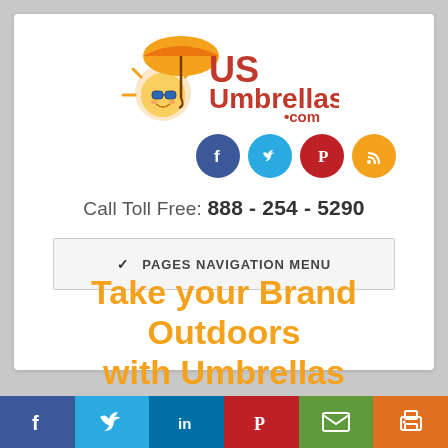[Figure (logo): USUmbrellas.com logo with cartoon sun character holding an orange umbrella]
[Figure (infographic): Social media icons row: Facebook (blue circle), Twitter (light blue circle), Pinterest (red circle), RSS (orange circle)]
Call Toll Free: 888 - 254 - 5290
PAGES NAVIGATION MENU
Take your Brand Outdoors with Umbrellas
[Figure (infographic): Bottom social sharing bar with 6 colored buttons: Facebook (dark blue), Twitter (light blue), LinkedIn (dark blue), Pinterest (red), Email (green), Print (orange)]